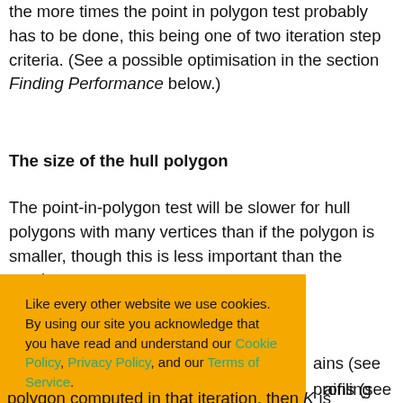the more times the point in polygon test probably has to be done, this being one of two iteration step criteria. (See a possible optimisation in the section Finding Performance below.)
The size of the hull polygon
The point-in-polygon test will be slower for hull polygons with many vertices than if the polygon is smaller, though this is less important than the number
ains (see profiling shows n-polygon on for the re not inside the polygon computed in that iteration, then K is
[Figure (screenshot): Cookie consent banner with orange background. Text reads: 'Like every other website we use cookies. By using our site you acknowledge that you have read and understand our Cookie Policy, Privacy Policy, and our Terms of Service. Learn more'. Buttons: 'Ask me later', 'Decline', 'Allow cookies'.]